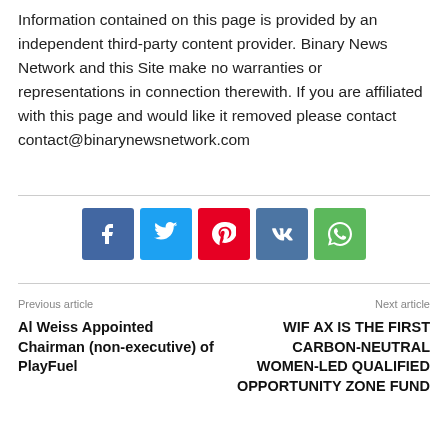Information contained on this page is provided by an independent third-party content provider. Binary News Network and this Site make no warranties or representations in connection therewith. If you are affiliated with this page and would like it removed please contact contact@binarynewsnetwork.com
[Figure (other): Row of five social media share buttons: Facebook (blue), Twitter (light blue), Pinterest (red), VK (slate blue), WhatsApp (green)]
Previous article
Al Weiss Appointed Chairman (non-executive) of PlayFuel
Next article
WIF AX IS THE FIRST CARBON-NEUTRAL WOMEN-LED QUALIFIED OPPORTUNITY ZONE FUND